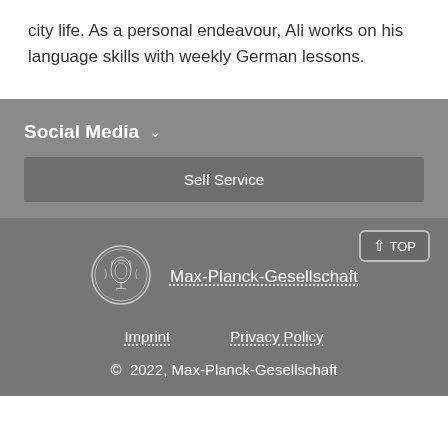city life. As a personal endeavour, Ali works on his language skills with weekly German lessons.
Social Media
Self Service
[Figure (logo): Max-Planck-Gesellschaft circular logo with Minerva bust]
Max-Planck-Gesellschaft
Imprint
Privacy Policy
© 2022, Max-Planck-Gesellschaft